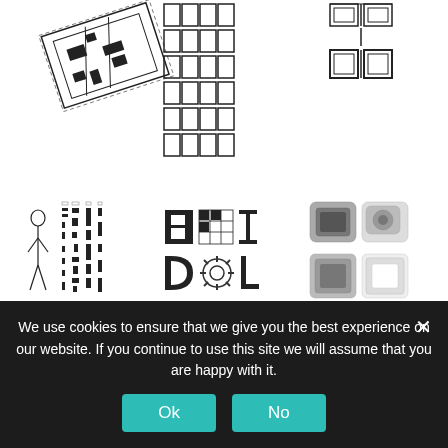[Figure (illustration): Top row of three architectural diagram/schematic illustrations: left shows a floor plan layout in black, center shows a grid of small rectangular modules, right shows a symmetrical architectural section or elevation symbol.]
[Figure (illustration): Middle row of three illustration groups: left shows architectural drawings with a figure and modular grid patterns, center shows typographic/icon symbols including block letters and patterns, right shows 3D rendered plastic/rubber square modules/components.]
File: extended abstract
Architecture and Public Space
We use cookies to ensure that we give you the best experience on our website. If you continue to use this site we will assume that you are happy with it.